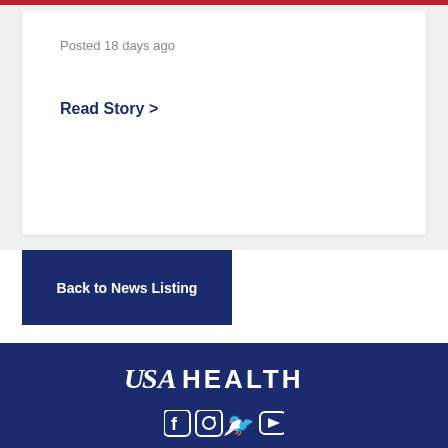Posted 18 days ago
Read Story >
Back to News Listing
[Figure (logo): USA HEALTH logo in white text on dark navy background]
[Figure (infographic): Social media icons: Facebook, Instagram, Twitter, YouTube in white on dark navy background]
Stay up to date on the latest USA